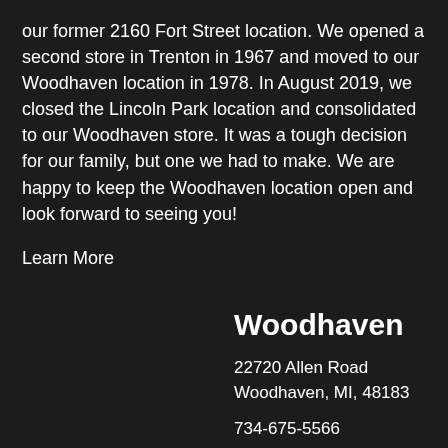our former 2160 Fort Street location. We opened a second store in Trenton in 1967 and moved to our Woodhaven location in 1978. In August 2019, we closed the Lincoln Park location and consolidated to our Woodhaven store. It was a tough decision for our family, but one we had to make. We are happy to keep the Woodhaven location open and look forward to seeing you!
Learn More
Woodhaven
22720 Allen Road
Woodhaven, MI, 48183
734-675-5566
Directions & Hours